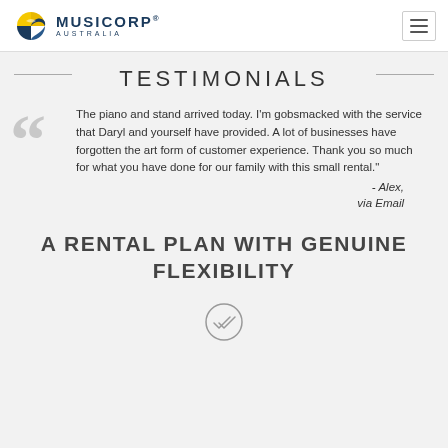MUSICORP® AUSTRALIA
TESTIMONIALS
The piano and stand arrived today. I'm gobsmacked with the service that Daryl and yourself have provided. A lot of businesses have forgotten the art form of customer experience. Thank you so much for what you have done for our family with this small rental." - Alex, via Email
A RENTAL PLAN WITH GENUINE FLEXIBILITY
[Figure (illustration): Partial circle icon with checkmark/arrows at bottom of page]